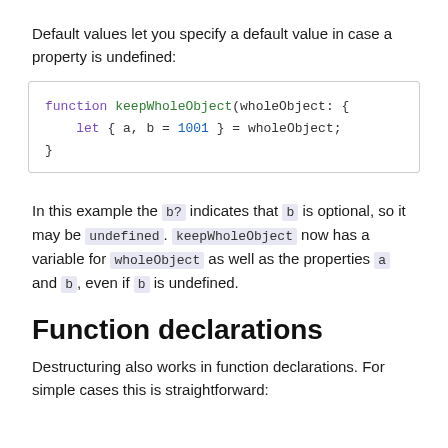Default values let you specify a default value in case a property is undefined:
[Figure (screenshot): Code block showing: function keepWholeObject(wholeObject: { let { a, b = 1001 } = wholeObject; }]
In this example the b? indicates that b is optional, so it may be undefined. keepWholeObject now has a variable for wholeObject as well as the properties a and b, even if b is undefined.
Function declarations
Destructuring also works in function declarations. For simple cases this is straightforward: